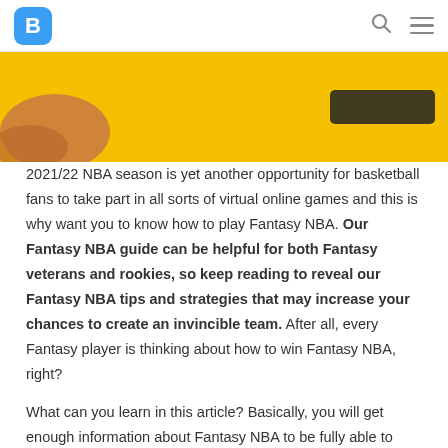B [logo] | search | menu
[Figure (photo): Hero image with yellow/orange background showing hands holding a basketball, with a dark overlay button element visible]
2021/22 NBA season is yet another opportunity for basketball fans to take part in all sorts of virtual online games and this is why want you to know how to play Fantasy NBA. Our Fantasy NBA guide can be helpful for both Fantasy veterans and rookies, so keep reading to reveal our Fantasy NBA tips and strategies that may increase your chances to create an invincible team. After all, every Fantasy player is thinking about how to win Fantasy NBA, right?
What can you learn in this article? Basically, you will get enough information about Fantasy NBA to be fully able to create your own Fantasy NBA team, enter a Fantasy NBA league and compete on a